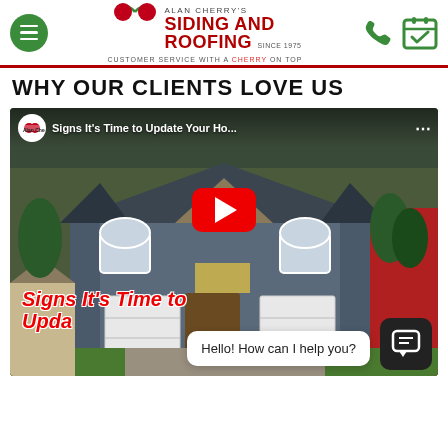[Figure (logo): Alan Cherry's Siding and Roofing logo with cherry graphic, tagline 'Customer Service with a Cherry on Top']
WHY OUR CLIENTS LOVE US
[Figure (screenshot): YouTube video thumbnail showing a house, titled 'Signs It's Time to Update Your Ho...' with a red play button, overlay text 'Signs It's Time to Update Your Ho...' and a chat bubble saying 'Hello! How can I help you?']